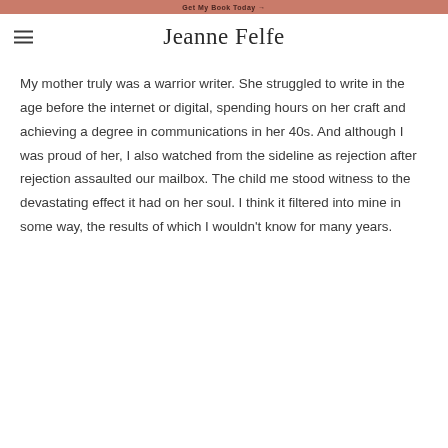Get My Book Today →
Jeanne Felfe
My mother truly was a warrior writer. She struggled to write in the age before the internet or digital, spending hours on her craft and achieving a degree in communications in her 40s. And although I was proud of her, I also watched from the sideline as rejection after rejection assaulted our mailbox. The child me stood witness to the devastating effect it had on her soul. I think it filtered into mine in some way, the results of which I wouldn't know for many years.